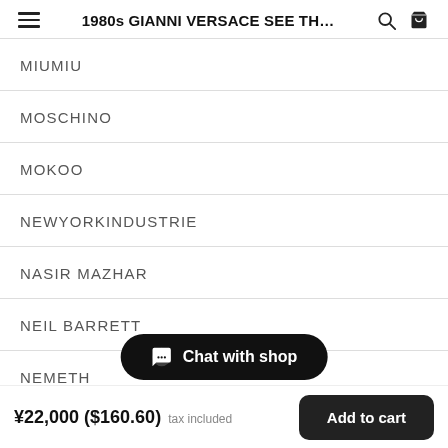1980s GIANNI VERSACE SEE TH…
MIUMIU
MOSCHINO
MOKOO
NEWYORKINDUSTRIE
NASIR MAZHAR
NEIL BARRETT
NEMETH
Chat with shop
¥22,000 ($160.60) tax included   Add to cart